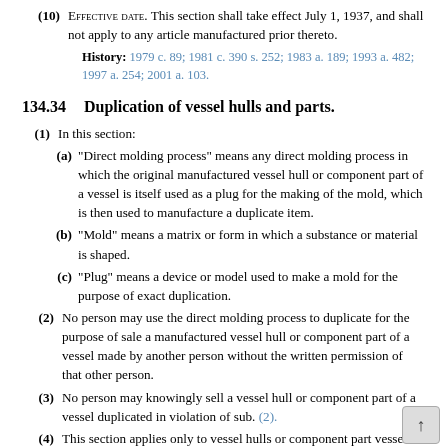(10) Effective date. This section shall take effect July 1, 1937, and shall not apply to any article manufactured prior thereto.
History: 1979 c. 89; 1981 c. 390 s. 252; 1983 a. 189; 1993 a. 482; 1997 a. 254; 2001 a. 103.
134.34    Duplication of vessel hulls and parts.
(1) In this section:
(a) "Direct molding process" means any direct molding process in which the original manufactured vessel hull or component part of a vessel is itself used as a plug for the making of the mold, which is then used to manufacture a duplicate item.
(b) "Mold" means a matrix or form in which a substance or material is shaped.
(c) "Plug" means a device or model used to make a mold for the purpose of exact duplication.
(2) No person may use the direct molding process to duplicate for the purpose of sale a manufactured vessel hull or component part of a vessel made by another person without the written permission of that other person.
(3) No person may knowingly sell a vessel hull or component part of a vessel duplicated in violation of sub. (2).
(4) This section applies only to vessel hulls or component parts vessels duplicated using a mold made after June 30, 1983.